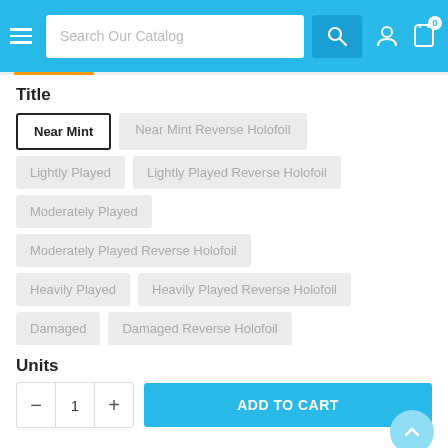Search Our Catalog
Title
Near Mint
Near Mint Reverse Holofoil
Lightly Played
Lightly Played Reverse Holofoil
Moderately Played
Moderately Played Reverse Holofoil
Heavily Played
Heavily Played Reverse Holofoil
Damaged
Damaged Reverse Holofoil
Units
1
ADD TO CART